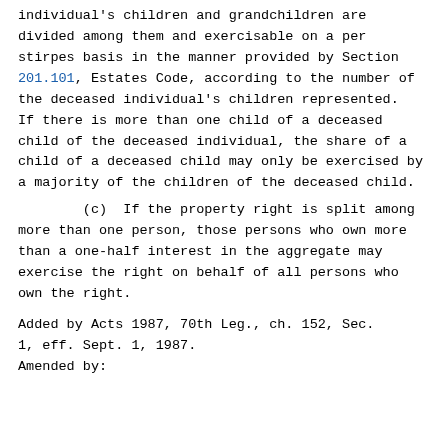individual's children and grandchildren are divided among them and exercisable on a per stirpes basis in the manner provided by Section 201.101, Estates Code, according to the number of the deceased individual's children represented.  If there is more than one child of a deceased child of the deceased individual, the share of a child of a deceased child may only be exercised by a majority of the children of the deceased child.
(c)  If the property right is split among more than one person, those persons who own more than a one-half interest in the aggregate may exercise the right on behalf of all persons who own the right.
Added by Acts 1987, 70th Leg., ch. 152, Sec. 1, eff. Sept. 1, 1987.
Amended by: